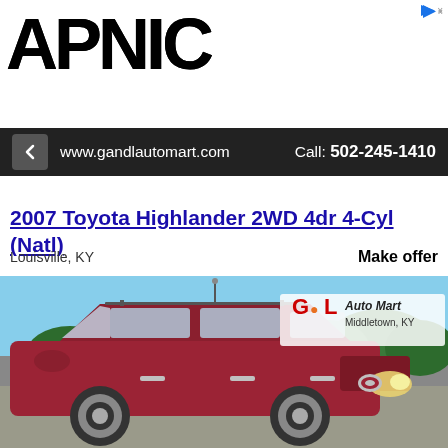[Figure (screenshot): APNIC advertisement banner at top of page with logo on left and text 'Thank you for helping us measure the Internet.' on right, with a sponsored arrow icon]
www.gandlautomart.com    Call: 502-245-1410
2007 Toyota Highlander 2WD 4dr 4-Cyl (Natl)
Louisville, KY    Make offer
[Figure (photo): Red 2007 Toyota Highlander SUV parked in a car lot with G & L Auto Mart Middletown KY sign visible in background]